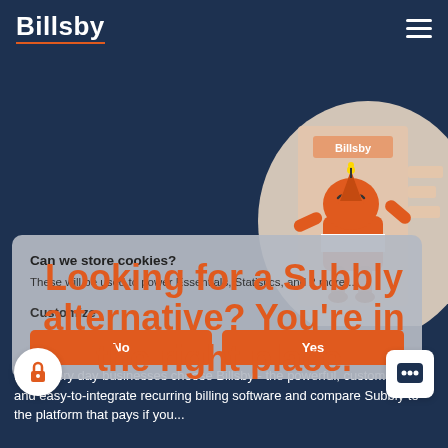Billsby
[Figure (illustration): Orange robot mascot character with a party hat, waving, standing in front of a Billsby-branded doorway. Beige rounded blob shape in background. Dark navy blue background.]
Looking for a Subbly alternative? You're in the right place.
Can we store cookies?
These will be used to power Essentials, Statistics, and 2 more....
Customize
...hy every day businesses choose Billsby - the powerful, customizable and easy-to-integrate recurring billing software and compare Subbly to the platform that pays if you...